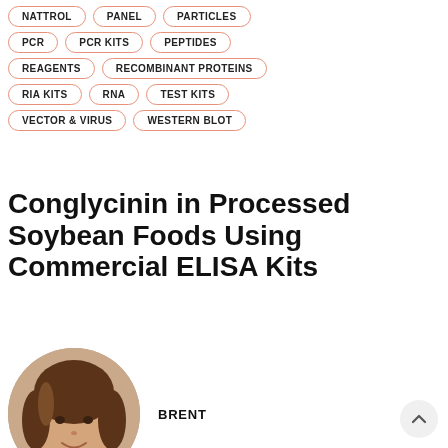NATTROL
PANEL
PARTICLES
PCR
PCR KITS
PEPTIDES
REAGENTS
RECOMBINANT PROTEINS
RIA KITS
RNA
TEST KITS
VECTOR & VIRUS
WESTERN BLOT
Conglycinin in Processed Soybean Foods Using Commercial ELISA Kits
[Figure (photo): Circular portrait photo of a young woman with brown hair, smiling, outdoors setting.]
BRENT